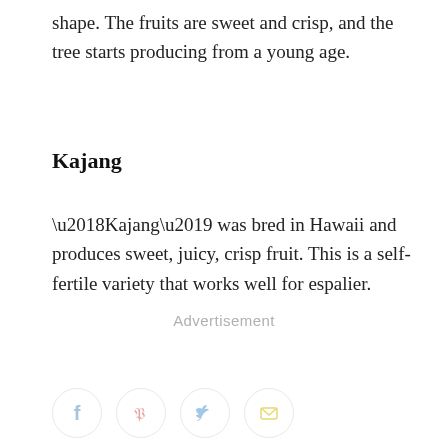shape. The fruits are sweet and crisp, and the tree starts producing from a young age.
Kajang
‘Kajang’ was bred in Hawaii and produces sweet, juicy, crisp fruit. This is a self-fertile variety that works well for espalier.
Advertisement
[Figure (other): Social sharing icons: Facebook, Pinterest, Twitter, Email — circular icon buttons in light pastel colors]